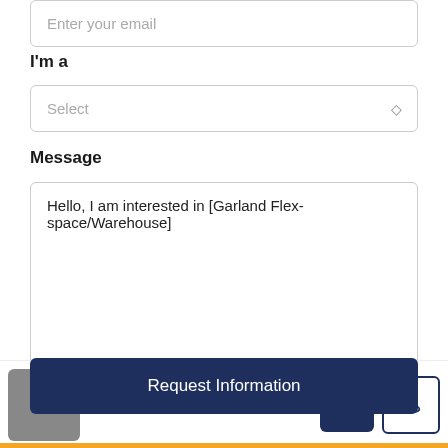Enter your email
I'm a
Select
Message
Hello, I am interested in [Garland Flex-space/Warehouse]
By submitting this form I agree to Terms of Use
Request Information
Angela Harwell, CCIM